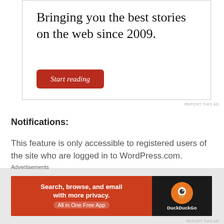[Figure (screenshot): Advertisement box with text 'Bringing you the best stories on the web since 2009.' and a dark red 'Start reading' button]
REPORT THIS AD
Notifications:
This feature is only accessible to registered users of the site who are logged in to WordPress.com.
[Figure (screenshot): DuckDuckGo advertisement banner: 'Search, browse, and email with more privacy. All in One Free App' with DuckDuckGo logo on dark background]